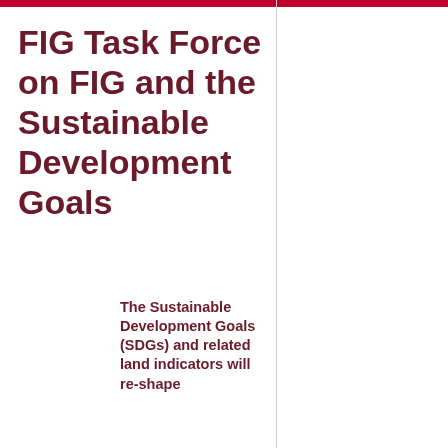FIG Task Force on FIG and the Sustainable Development Goals
The Sustainable Development Goals (SDGs) and related land indicators will re-shape